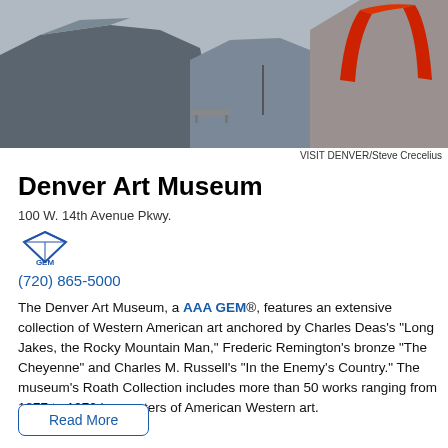[Figure (photo): Exterior photo of the Denver Art Museum building with a large red sculpture in the foreground plaza]
VISIT DENVER/Steve Crecelius
Denver Art Museum
100 W. 14th Avenue Pkwy.
[Figure (logo): AAA GEM diamond logo badge]
(720) 865-5000
The Denver Art Museum, a AAA GEM®, features an extensive collection of Western American art anchored by Charles Deas's "Long Jakes, the Rocky Mountain Man," Frederic Remington's bronze "The Cheyenne" and Charles M. Russell's "In the Enemy's Country." The museum's Roath Collection includes more than 50 works ranging from 1877 to 1972 by masters of American Western art.
Read More